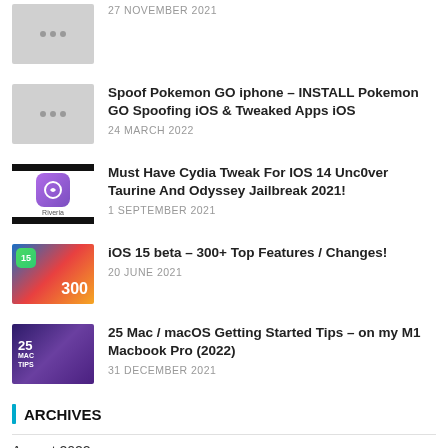27 NOVEMBER 2021
Spoof Pokemon GO iphone – INSTALL Pokemon GO Spoofing iOS & Tweaked Apps iOS
24 MARCH 2022
Must Have Cydia Tweak For IOS 14 Unc0ver Taurine And Odyssey Jailbreak 2021!
1 SEPTEMBER 2021
iOS 15 beta – 300+ Top Features / Changes!
20 JUNE 2021
25 Mac / macOS Getting Started Tips – on my M1 Macbook Pro (2022)
31 DECEMBER 2021
ARCHIVES
August 2022
July 2022